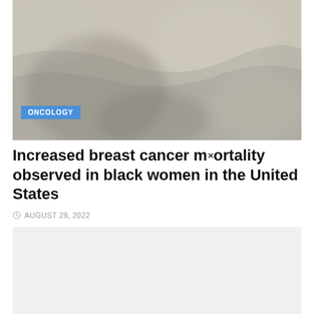[Figure (photo): Close-up photo of what appears to be light-colored tissue or skin surface with subtle texture and blue/gray tones, with an ONCOLOGY category badge in the lower left corner]
Increased breast cancer mortality observed in black women in the United States
AUGUST 29, 2022
[Figure (photo): Light gray placeholder image area below the article title and date]